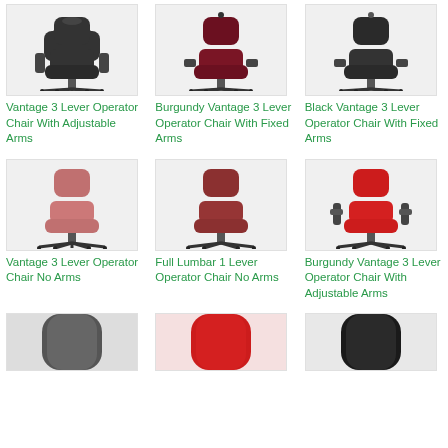[Figure (photo): Vantage 3 Lever Operator Chair With Adjustable Arms - black office chair on castors]
Vantage 3 Lever Operator Chair With Adjustable Arms
[Figure (photo): Burgundy Vantage 3 Lever Operator Chair With Fixed Arms - office chair on castors]
Burgundy Vantage 3 Lever Operator Chair With Fixed Arms
[Figure (photo): Black Vantage 3 Lever Operator Chair With Fixed Arms - black office chair on castors]
Black Vantage 3 Lever Operator Chair With Fixed Arms
[Figure (photo): Vantage 3 Lever Operator Chair No Arms - red/pink office chair on castors]
Vantage 3 Lever Operator Chair No Arms
[Figure (photo): Full Lumbar 1 Lever Operator Chair No Arms - dark red office chair on castors]
Full Lumbar 1 Lever Operator Chair No Arms
[Figure (photo): Burgundy Vantage 3 Lever Operator Chair With Adjustable Arms - red office chair with adjustable arms on castors]
Burgundy Vantage 3 Lever Operator Chair With Adjustable Arms
[Figure (photo): Dark grey office chair backrest - partial view]
[Figure (photo): Red office chair backrest - partial view]
[Figure (photo): Black office chair backrest - partial view]